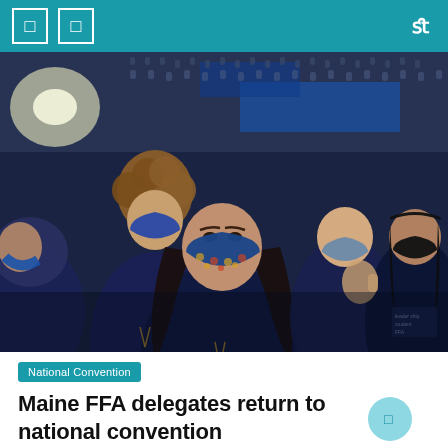Navigation header with menu icons
[Figure (photo): Group of Maine FFA student delegates wearing navy blue FFA jackets and face masks (blue and patterned) seated in a large arena at the FFA National Convention. A selfie-style photo showing multiple students, with a large crowd visible in the background.]
National Convention
Maine FFA delegates return to national convention